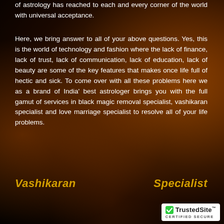of astrology has reached to each and every corner of the world with universal acceptance.
Here, we bring answer to all of your above questions. Yes, this is the world of technology and fashion where the lack of finance, lack of trust, lack of communication, lack of education, lack of beauty are some of the key features that makes once life full of hectic and sick. To come over with all these problems here we as a brand of India' best astrologer brings you with the full gamut of services in black magic removal specialist, vashikaran specialist and love marriage specialist to resolve all of your life problems.
Vashikaran Specialist
[Figure (logo): TrustedSite CERTIFIED SECURE badge]